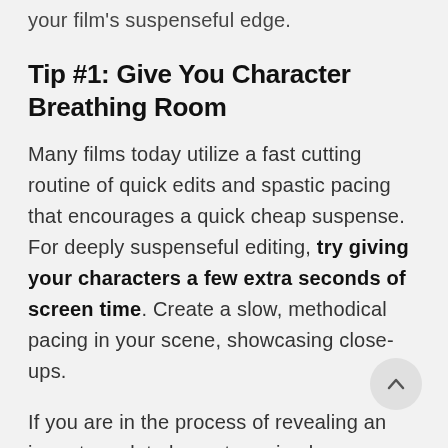your film's suspenseful edge.
Tip #1: Give You Character Breathing Room
Many films today utilize a fast cutting routine of quick edits and spastic pacing that encourages a quick cheap suspense. For deeply suspenseful editing, try giving your characters a few extra seconds of screen time. Create a slow, methodical pacing in your scene, showcasing close-ups.
If you are in the process of revealing an important plot element, or simply establishing the anxious atmosphere, try giving your characters a bit of...